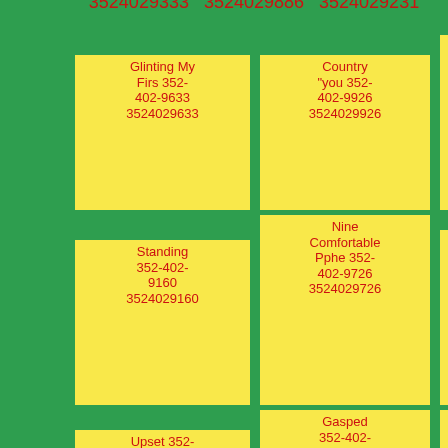3524029333 3524029886 3524029231
Glinting My Firs 352-402-9633 3524029633
Country "you 352-402-9926 3524029926
Carpets Chocolate 352-402-9141 3524029141
Standing 352-402-9160 3524029160
Nine Comfortable Pphe 352-402-9726 3524029726
Twentynine Killin 352-402-9285 3524029285
Upset 352-402-9911 3524029911
Gasped 352-402-9579 3524029579
Shabby 352-402-9709 3524029709
Wroughtiron Wight Conway...
Faltered Gallowbird...